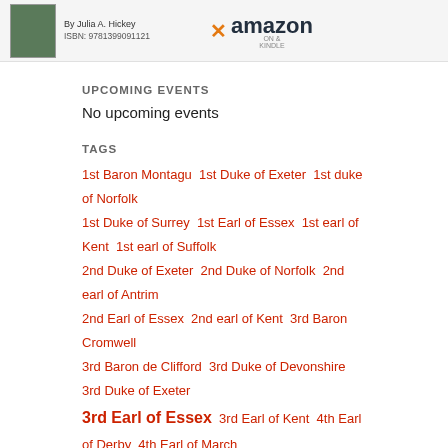[Figure (other): Book cover image and Amazon logo/link in page header area]
UPCOMING EVENTS
No upcoming events
TAGS
1st Baron Montagu 1st Duke of Exeter 1st duke of Norfolk 1st Duke of Surrey 1st Earl of Essex 1st earl of Kent 1st earl of Suffolk 2nd Duke of Exeter 2nd Duke of Norfolk 2nd earl of Antrim 2nd Earl of Essex 2nd earl of Kent 3rd Baron Cromwell 3rd Baron de Clifford 3rd Duke of Devonshire 3rd Duke of Exeter 3rd Earl of Essex 3rd Earl of Kent 4th Earl of Derby 4th Earl of March 5th Baron Wentworth 5th Earl of Derby 5th Earl of March 6th Earl of Derby 6th Earl of Rutland 6th Lord Welles 7th Earl of Gloucester 8th Earl of Gloucester 9th Earl of Northumberland 9th Earl of Oxford 9th Lord Cobham 10th Baron of Abergevenny 11th Lord Cobham 12th Earl of Warwick 13th Baron Ferrers 17th Earl of Oxford 1066 1066 and All That 1066-1403 1489 1614 map 1641